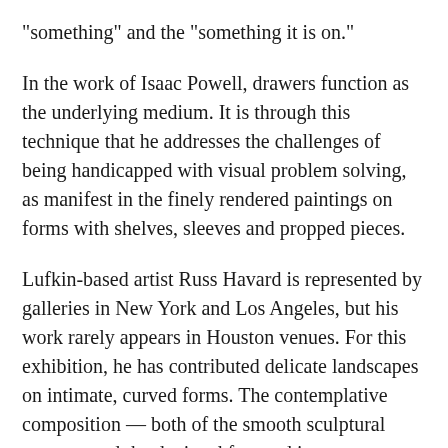"something" and the "something it is on."
In the work of Isaac Powell, drawers function as the underlying medium. It is through this technique that he addresses the challenges of being handicapped with visual problem solving, as manifest in the finely rendered paintings on forms with shelves, sleeves and propped pieces.
Lufkin-based artist Russ Havard is represented by galleries in New York and Los Angeles, but his work rarely appears in Houston venues. For this exhibition, he has contributed delicate landscapes on intimate, curved forms. The contemplative composition — both of the smooth sculptural massses and the depicted forested images — reflect his reaction to diagnosis of an auto-immune illness.